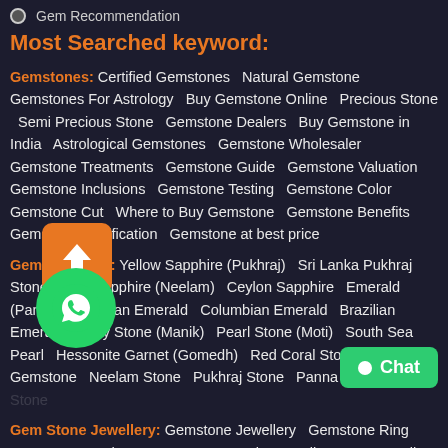Gem Recommendation
Most Searched keyword:
Gemstones: Certified Gemstones  Natural Gemstone  Gemstones For Astrology  Buy Gemstone Online  Precious Stone  Semi Precious Stone  Gemstone Dealers  Buy Gemstone in India  Astrological Gemstones  Gemstone Wholesaler  Gemstone Treatments  Gemstone Guide  Gemstone Valuation  Gemstone Inclusions  Gemstone Testing  Gemstone Color  Gemstone Cut  Where to Buy Gemstone  Gemstone Benefits  Gemstone Certification  Gemstone at best price
Gemstone List: Yellow Sapphire (Pukhraj)  Sri Lanka Pukhraj Stone  Blue Sapphire (Neelam)  Ceylon Sapphire  Emerald (Panna)  Zambian Emerald  Columbian Emerald  Brazilian Emerald  Ruby Stone (Manik)  Pearl Stone (Moti)  South Sea Pearl  Hessonite Garnet (Gomedh)  Red Coral Stone  Cat's Eye Gemstone  Neelam Stone  Pukhraj Stone  Panna Stone  Manik Stone
Gem Stone Jewellery: Gemstone Jewellery  Gemstone Ring  Gemstone Pendant  Gemstone Bracelet  Healing stone Jewellery  Gemstone Pendant  Columbian Emerald  Customized Jewellery  astrological rings  Panchdatu rings  Women's Rings  Men's Rings  Ladies Rings  Yellow Sapphire Rings  Rin The Setting Ring